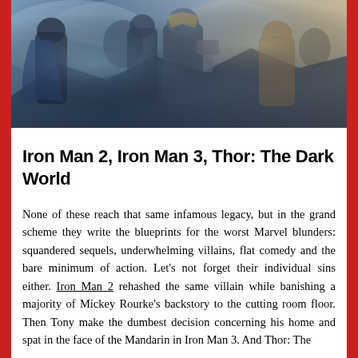[Figure (photo): Movie poster or promotional image for Thor: The Dark World and related Marvel films, showing fantasy/sci-fi battle scene with armored characters]
Iron Man 2, Iron Man 3, Thor: The Dark World
None of these reach that same infamous legacy, but in the grand scheme they write the blueprints for the worst Marvel blunders: squandered sequels, underwhelming villains, flat comedy and the bare minimum of action. Let's not forget their individual sins either. Iron Man 2 rehashed the same villain while banishing a majority of Mickey Rourke's backstory to the cutting room floor. Then Tony make the dumbest decision concerning his home and spat in the face of the Mandarin in Iron Man 3. And Thor: The